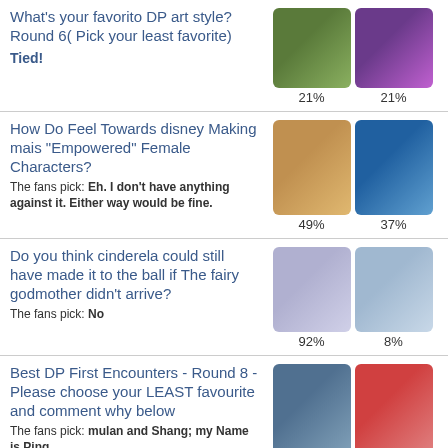What's your favorito DP art style? Round 6( Pick your least favorite) Tied! | 21% | 21%
How Do Feel Towards disney Making mais "Empowered" Female Characters? The fans pick: Eh. I don't have anything against it. Either way would be fine. | 49% | 37%
Do you think cinderela could still have made it to the ball if The fairy godmother didn't arrive? The fans pick: No | 92% | 8%
Best DP First Encounters - Round 8 - Please choose your LEAST favourite and comment why below The fans pick: mulan and Shang; my Name is Ping | 39% | 36%
Which act of forgiveness do you like